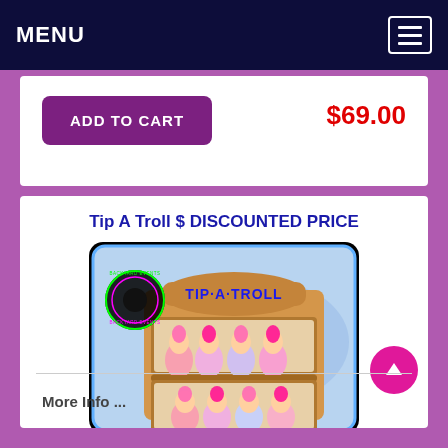MENU
ADD TO CART   $69.00
Tip A Troll $ DISCOUNTED PRICE
[Figure (photo): Tip A Troll carnival game showing a wooden shelf unit with two rows of troll dolls with pink hair, labeled TIP-A-TROLL at the top. Backyard Events watermark visible in the upper left corner.]
More Info ...